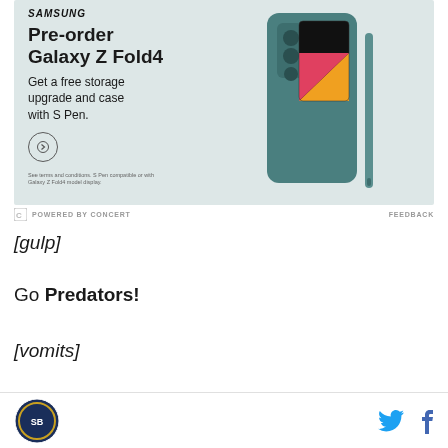[Figure (photo): Samsung advertisement for Galaxy Z Fold4 showing the phone with S Pen and case. Text reads: Pre-order Galaxy Z Fold4, Get a free storage upgrade and case with S Pen.]
POWERED BY CONCERT   FEEDBACK
[gulp]
Go Predators!
[vomits]
Site logo, Twitter icon, Facebook icon